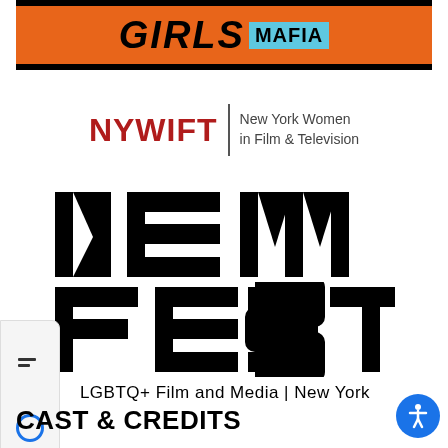[Figure (logo): Girls Mafia banner logo with orange background, black bold italic text 'GIRLS' and 'MAFIA' in a blue box]
[Figure (logo): NYWIFT logo — red bold text 'NYWIFT', vertical divider, and text 'New York Women in Film & Television']
[Figure (logo): NewFest logo — large black text 'NEW FEST' with horizontal bar lines replacing middle strokes, tagline 'LGBTQ+ Film and Media | New York']
CAST & CREDITS